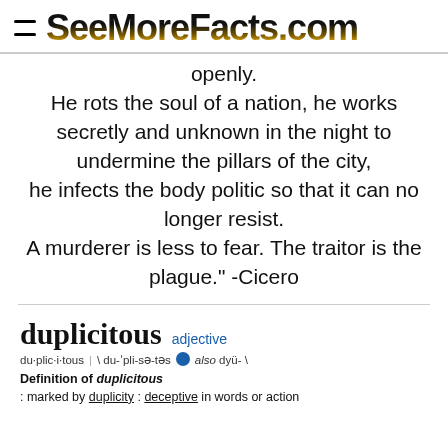SeeMoreFacts.com
openly.
He rots the soul of a nation, he works secretly and unknown in the night to undermine the pillars of the city, he infects the body politic so that it can no longer resist.
A murderer is less to fear. The traitor is the plague." -Cicero
duplicitous adjective
du·plic·i·tous | \ du-ˈpli-sə-təs also dyü- \
Definition of duplicitous
: marked by duplicity : deceptive in words or action